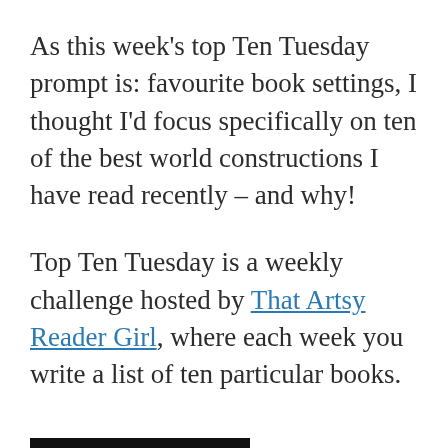As this week's top Ten Tuesday prompt is: favourite book settings, I thought I'd focus specifically on ten of the best world constructions I have read recently – and why!
Top Ten Tuesday is a weekly challenge hosted by That Artsy Reader Girl, where each week you write a list of ten particular books.